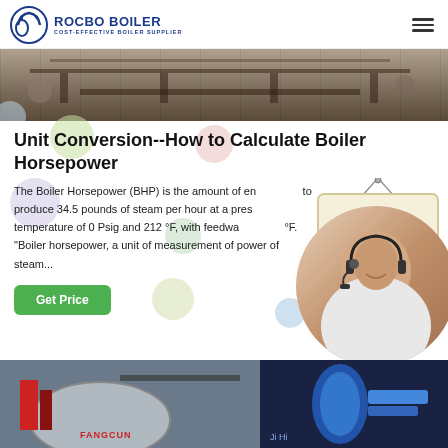ROCBO BOILER — COST-EFFECTIVE BOILER SUPPLIER
[Figure (photo): Industrial boiler equipment in a factory setting, top hero banner image]
Unit Conversion--How to Calculate Boiler Horsepower
The Boiler Horsepower (BHP) is the amount of energy to produce 34.5 pounds of steam per hour at a pressure and temperature of 0 Psig and 212 °F, with feedwa... °F. "Boiler horsepower, a unit of measurement of power of steam...
[Figure (illustration): 10% DISCOUNT badge/sticker illustration]
[Figure (photo): Customer service representative with headset smiling]
[Figure (photo): Industrial boiler equipment photos at bottom of page]